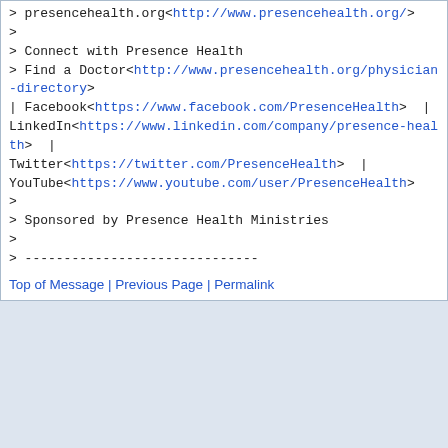> presencehealth.org<http://www.presencehealth.org/>
>
> Connect with Presence Health
> Find a Doctor<http://www.presencehealth.org/physician-directory>
| Facebook<https://www.facebook.com/PresenceHealth>  |
LinkedIn<https://www.linkedin.com/company/presence-health>  |
Twitter<https://twitter.com/PresenceHealth>  |
YouTube<https://www.youtube.com/user/PresenceHealth>
>
> Sponsored by Presence Health Ministries
>
> ------------------------------
Top of Message | Previous Page | Permalink